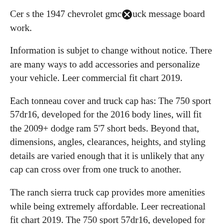Cers the 1947 chevrolet gmc [X] uck message board work.
Information is subjet to change without notice. There are many ways to add accessories and personalize your vehicle. Leer commercial fit chart 2019.
Each tonneau cover and truck cap has: The 750 sport 57dr16, developed for the 2016 body lines, will fit the 2009+ dodge ram 5'7 short beds. Beyond that, dimensions, angles, clearances, heights, and styling details are varied enough that it is unlikely that any cap can cross over from one truck to another.
The ranch sierra truck cap provides more amenities while being extremely affordable. Leer recreational fit chart 2019. The 750 sport 57dr16, developed for the 2016 body lines, will fit the 2009+ dodge ram [X] short beds.